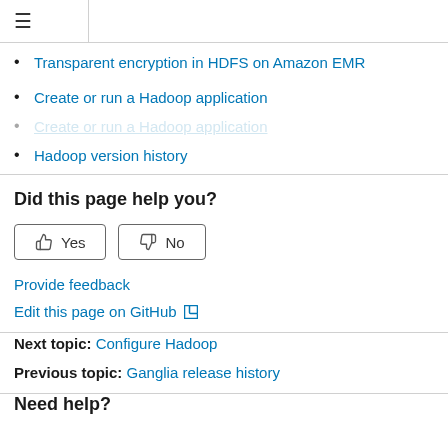☰
Transparent encryption in HDFS on Amazon EMR
Create or run a Hadoop application
Hadoop version history
Did this page help you?
Yes / No buttons
Provide feedback
Edit this page on GitHub
Next topic: Configure Hadoop
Previous topic: Ganglia release history
Need help?